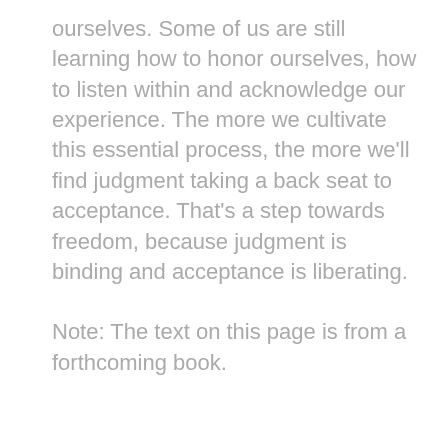ourselves. Some of us are still learning how to honor ourselves, how to listen within and acknowledge our experience. The more we cultivate this essential process, the more we'll find judgment taking a back seat to acceptance. That's a step towards freedom, because judgment is binding and acceptance is liberating.
Note: The text on this page is from a forthcoming book.